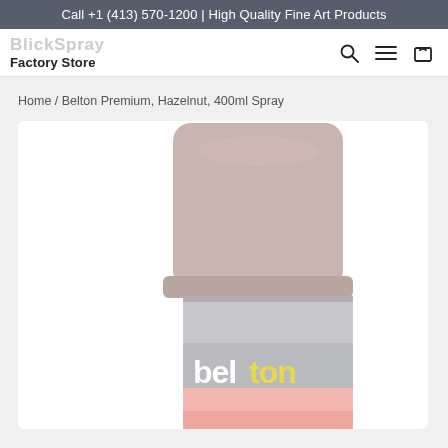Call +1 (413) 570-1200 | High Quality Fine Art Products
Factory Store
Home / Belton Premium, Hazelnut, 400ml Spray
[Figure (photo): Belton premium spray can in hazelnut color, showing the top cap and label with 'belton' branding, partially cropped.]